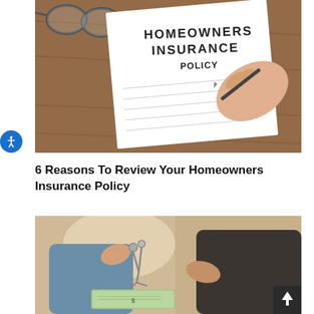[Figure (photo): A homeowners insurance policy document on a wooden table with glasses, being signed by a hand holding a pen.]
6 Reasons To Review Your Homeowners Insurance Policy
[Figure (photo): Two people exchanging house keys and money/cash, representing a real estate or home purchase transaction.]